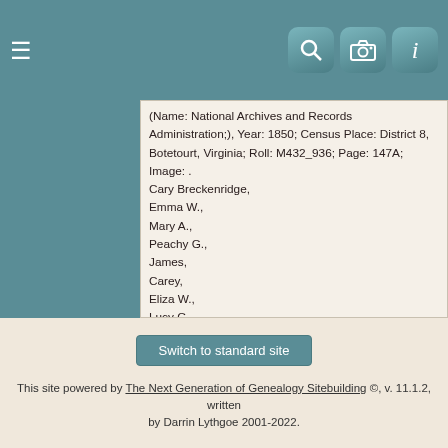Navigation header with hamburger menu and icons (search, camera, info)
(Name: National Archives and Records Administration;), Year: 1850; Census Place: District 8, Botetourt, Virginia; Roll: M432_936; Page: 147A; Image: .
Cary Breckenridge,
Emma W.,
Mary A.,
Peachy G.,
James,
Carey,
Eliza W.,
Lucy G.,
John H.,
Emma J.,
George W.
[S73] History of Washington College, Dr. W. H. Ruffin, President of Washington College 1833-1848/Feb 1893, Page 116.
Switch to standard site
This site powered by The Next Generation of Genealogy Sitebuilding ©, v. 11.1.2, written by Darrin Lythgoe 2001-2022.